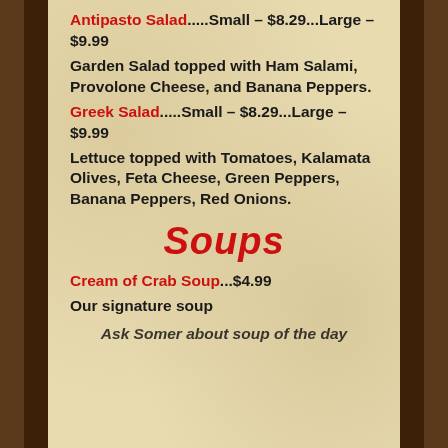Antipasto Salad.....Small – $8.29...Large – $9.99 Garden Salad topped with Ham Salami, Provolone Cheese, and Banana Peppers.
Greek Salad.....Small – $8.29...Large – $9.99 Lettuce topped with Tomatoes, Kalamata Olives, Feta Cheese, Green Peppers, Banana Peppers, Red Onions.
Soups
Cream of Crab Soup...$4.99 Our signature soup
Ask Somer about soup of the day